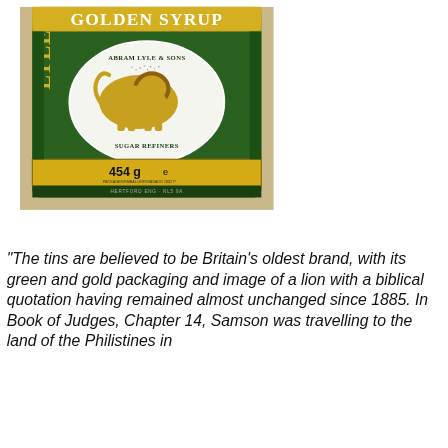[Figure (photo): A close-up photo of a tin of Lyle's Golden Syrup showing the iconic green and gold packaging with 'ABRAM LYLE & SONS SUGAR REFINERS' and a lion image in the center, labelled '454 g e'.]
"The tins are believed to be Britain's oldest brand, with its green and gold packaging and image of a lion with a biblical quotation having remained almost unchanged since 1885. In Book of Judges, Chapter 14, Samson was travelling to the land of the Philistines in